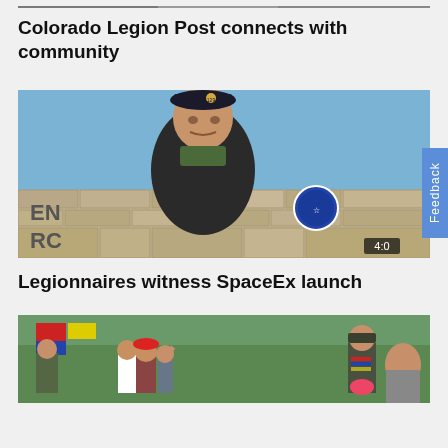[Figure (photo): Partial photo visible at top of page, cropped, showing group scene]
Colorado Legion Post connects with community
[Figure (photo): Man wearing American Legion cap numbered 129 standing in front of a stone wall with official seal, outdoors, blue sky. Video thumbnail with 4:0x badge.]
Legionnaires witness SpaceEx launch
[Figure (photo): Military ceremony scene with color guard, flags, veterans saluting, and military officer in dress uniform holding flowers]